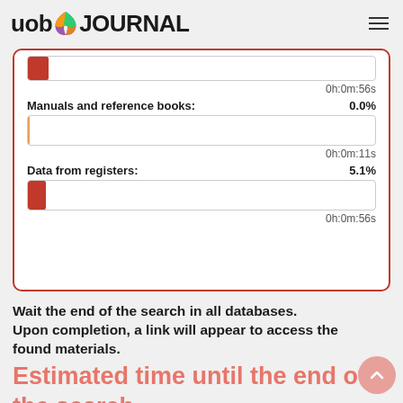uob JOURNAL
[Figure (screenshot): Progress bars showing database search status: Manuals and reference books 0.0% (0h:0m:11s), Data from registers 5.1% (0h:0m:56s)]
Wait the end of the search in all databases.
Upon completion, a link will appear to access the found materials.
Estimated time until the end of the search,